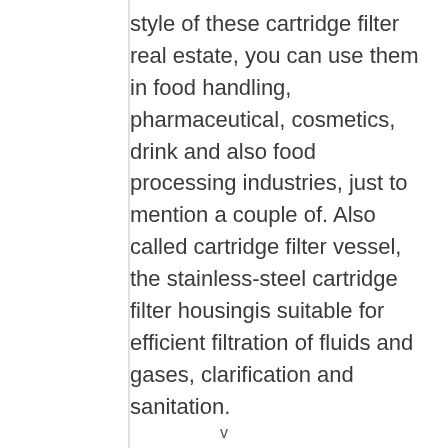style of these cartridge filter real estate, you can use them in food handling, pharmaceutical, cosmetics, drink and also food processing industries, just to mention a couple of. Also called cartridge filter vessel, the stainless-steel cartridge filter housingis suitable for efficient filtration of fluids and gases, clarification and sanitation.
v